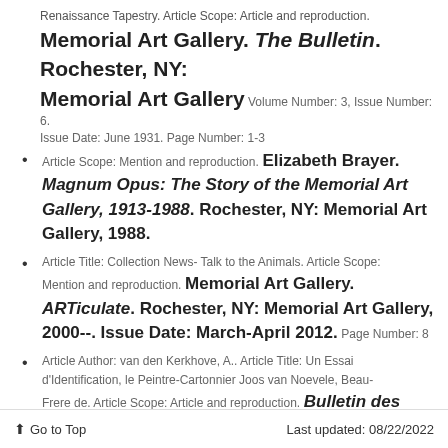Renaissance Tapestry. Article Scope: Article and reproduction. Memorial Art Gallery. The Bulletin. Rochester, NY: Memorial Art Gallery Volume Number: 3, Issue Number: 6. Issue Date: June 1931. Page Number: 1-3
Article Scope: Mention and reproduction. Elizabeth Brayer. Magnum Opus: The Story of the Memorial Art Gallery, 1913-1988. Rochester, NY: Memorial Art Gallery, 1988.
Article Title: Collection News- Talk to the Animals. Article Scope: Mention and reproduction. Memorial Art Gallery. ARTiculate. Rochester, NY: Memorial Art Gallery, 2000--. Issue Date: March-April 2012. Page Number: 8
Article Author: van den Kerkhove, A.. Article Title: Un Essai d'Identification, le Peintre-Cartonnier Joos van Noevele, Beau-Frere de. Article Scope: Article and reproduction. Bulletin des Musees Royaux d'Art et d'Histoire. Brussels Issue Date: 1973. Page Number: 243-251, Figure Number: 5
Christie's Sale Catalogue. London, England:
Go to Top    Last updated: 08/22/2022